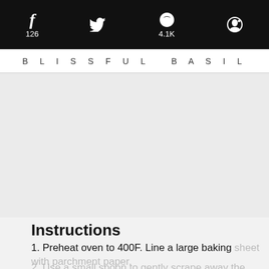f 126  [twitter icon]  p 4.1K  [reddit icon]
BLISSFUL BASIL
[Figure (other): Large gray placeholder/advertisement area]
Instructions
1. Preheat oven to 400F. Line a large baking sheet with parchment paper.
2. Use a small spoon to gently scrape away the